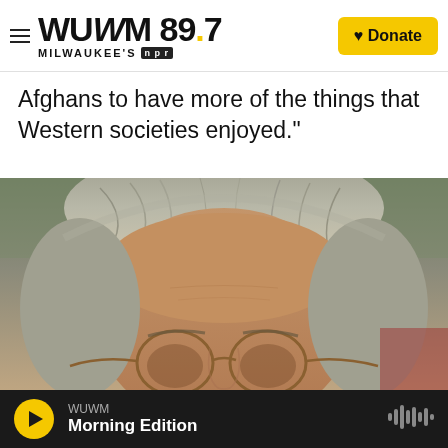WUWM 89.7 MILWAUKEE'S NPR — Donate
Afghans to have more of the things that Western societies enjoyed."
[Figure (photo): Close-up portrait photograph of a person with gray hair and round wire-framed glasses]
WUWM Morning Edition